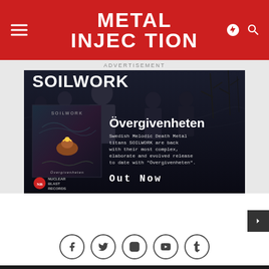Metal Injection
ADVERTISEMENT
[Figure (photo): Soilwork band advertisement for album Övergivenheten on Nuclear Blast Records. Shows band members in dark clothing against dark background with text 'SOILWORK', album cover art, album title 'Övergivenheten', description 'Swedish Melodic Death Metal titans SOILWORK are back with their most complex, elaborate and evolved release to date with Övergivenheten.', and 'Out Now'.]
[Figure (infographic): Social media icons in circles: Facebook, Twitter, Instagram, YouTube, Tumblr]
METAL